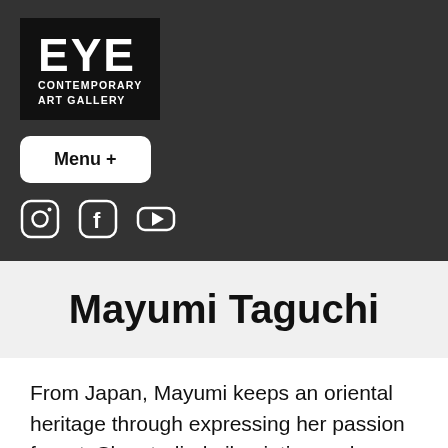[Figure (logo): EYE Contemporary Art Gallery logo — white bold text on black square background]
Menu +
[Figure (other): Social media icons: Instagram, Facebook, YouTube]
Mayumi Taguchi
From Japan, Mayumi keeps an oriental heritage through expressing her passion for art. She studied oil painting and interior design, and had